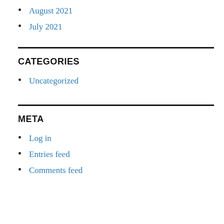August 2021
July 2021
CATEGORIES
Uncategorized
META
Log in
Entries feed
Comments feed